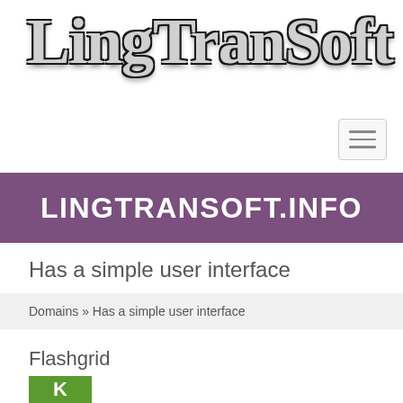[Figure (logo): LingTranSoft logo with stylized serif bold text in gray with dark outline and shadow]
[Figure (other): Hamburger/menu button icon with three horizontal bars, light gray bordered box]
LINGTRANSOFT.INFO
Has a simple user interface
Domains » Has a simple user interface
Flashgrid
[Figure (other): Green square badge with white letter K]